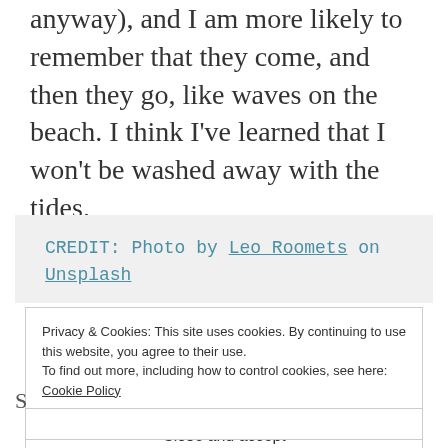anyway), and I am more likely to remember that they come, and then they go, like waves on the beach. I think I've learned that I won't be washed away with the tides.
CREDIT: Photo by Leo Roomets on Unsplash
Privacy & Cookies: This site uses cookies. By continuing to use this website, you agree to their use. To find out more, including how to control cookies, see here: Cookie Policy
Close and accept